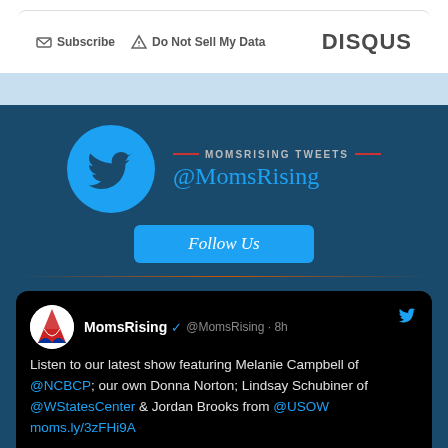[Figure (screenshot): Disqus comment section footer with Subscribe and Do Not Sell My Data links, and DISQUS branding]
[Figure (screenshot): MomsRising Tweets section with Twitter bird logo in cyan circle, @MomsRising handle, and Follow Us button on dark blue background]
[Figure (screenshot): Tweet from MomsRising @MomsRising 8h: Listen to our latest show featuring Melanie Campbell of @NCBCP; our own Donna Norton; Lindsay Schubiner of @WStatesCenter & Jordan Brooks from @USOW moms.ly/3zFHi9A]